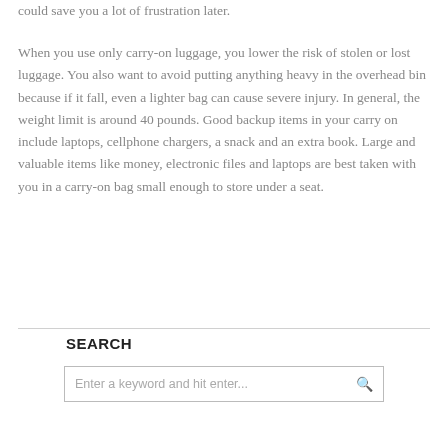could save you a lot of frustration later.
When you use only carry-on luggage, you lower the risk of stolen or lost luggage. You also want to avoid putting anything heavy in the overhead bin because if it fall, even a lighter bag can cause severe injury. In general, the weight limit is around 40 pounds. Good backup items in your carry on include laptops, cellphone chargers, a snack and an extra book. Large and valuable items like money, electronic files and laptops are best taken with you in a carry-on bag small enough to store under a seat.
SEARCH
Enter a keyword and hit enter...